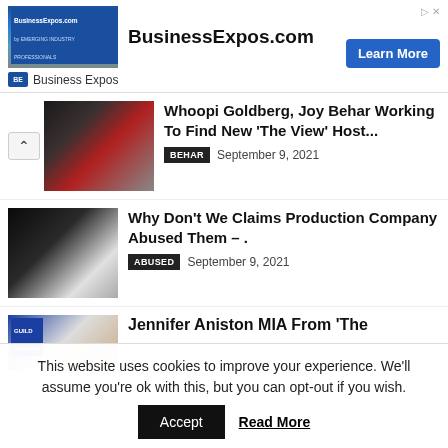[Figure (screenshot): BusinessExpos.com advertisement banner with aerial photo of trade show, 'Learn More' button, and Business Expos logo]
Whoopi Goldberg, Joy Behar Working To Find New 'The View' Host...
BEHAR   September 9, 2021
Why Don't We Claims Production Company Abused Them – .
ABUSED   September 9, 2021
Jennifer Aniston MIA From 'The
This website uses cookies to improve your experience. We'll assume you're ok with this, but you can opt-out if you wish.
Accept   Read More